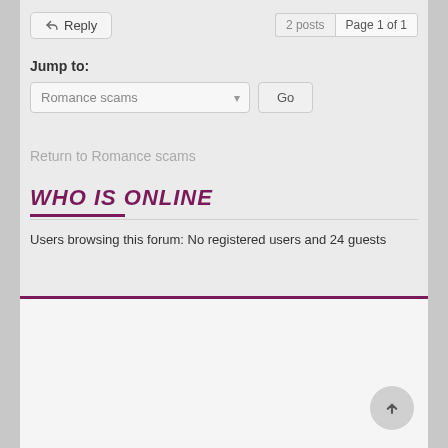Reply | 2 posts | Page 1 of 1
Jump to:
Romance scams
Go
Return to Romance scams
WHO IS ONLINE
Users browsing this forum: No registered users and 24 guests
[Figure (screenshot): Empty white content area below the who is online section, with a scroll-to-top circular button in the bottom right corner]